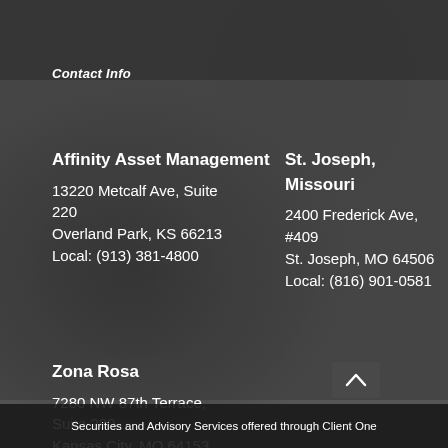Contact Info
Affinity Asset Management
13220 Metcalf Ave, Suite 220
Overland Park, KS 66213
Local: (913) 381-4800
St. Joseph, Missouri
2400 Frederick Ave, #409
St. Joseph, MO 64506
Local: (816) 901-0581
Zona Rosa
7280 NW 87th Terrace, Suite 280
Kansas City, MO 64153
Local: (913) 381-4800
Securities and Advisory Services offered through Client One